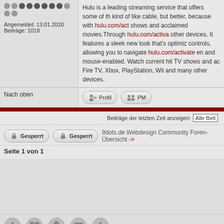Angemeldet: 13.01.2020
Beiträge: 1018
Hulu is a leading streaming service that offers some of the kind of like cable, but better, because with hulu.com/ac shows and acclaimed movies.Through hulu.com/activa other devices. It features a sleek new look that's optimiz controls, allowing you to navigate hulu.com/activate en and mouse-enabled. Watch current hit TV shows and ac Fire TV, Xbox, PlayStation, Wii and many other devices.
Nach oben
Profil
PM
Beiträge der letzten Zeit anzeigen: Alle Beit
Gesperrt
Gesperrt
9dots.de Webdesign Community Foren-Übersicht ->
Seite 1 von 1
Board Software by phpBB © 2001, 2005 phpBB Group. Impressum
Dominik Wuttke - Moritz Münchmeyer - Joachim Nagel GbR. AGB